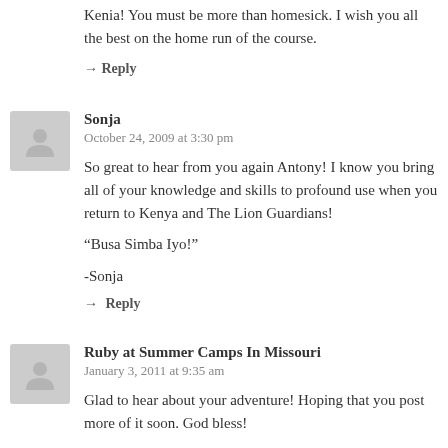Kenia! You must be more than homesick. I wish you all the best on the home run of the course.
→ Reply
Sonja
October 24, 2009 at 3:30 pm
So great to hear from you again Antony! I know you bring all of your knowledge and skills to profound use when you return to Kenya and The Lion Guardians!
“Busa Simba Iyo!”
-Sonja
→ Reply
Ruby at Summer Camps In Missouri
January 3, 2011 at 9:35 am
Glad to hear about your adventure! Hoping that you post more of it soon. God bless!